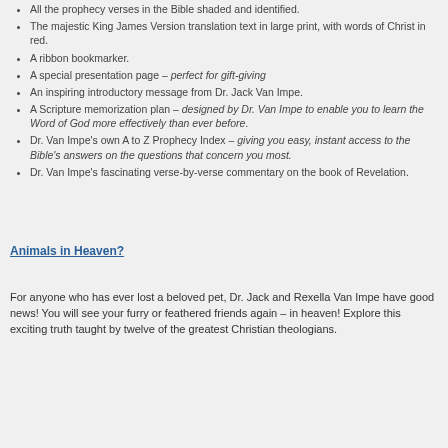All the prophecy verses in the Bible shaded and identified.
The majestic King James Version translation text in large print, with words of Christ in red.
A ribbon bookmarker.
A special presentation page – perfect for gift-giving
An inspiring introductory message from Dr. Jack Van Impe.
A Scripture memorization plan – designed by Dr. Van Impe to enable you to learn the Word of God more effectively than ever before.
Dr. Van Impe's own A to Z Prophecy Index – giving you easy, instant access to the Bible's answers on the questions that concern you most.
Dr. Van Impe's fascinating verse-by-verse commentary on the book of Revelation.
Animals in Heaven?
For anyone who has ever lost a beloved pet, Dr. Jack and Rexella Van Impe have good news! You will see your furry or feathered friends again – in heaven! Explore this exciting truth taught by twelve of the greatest Christian theologians.